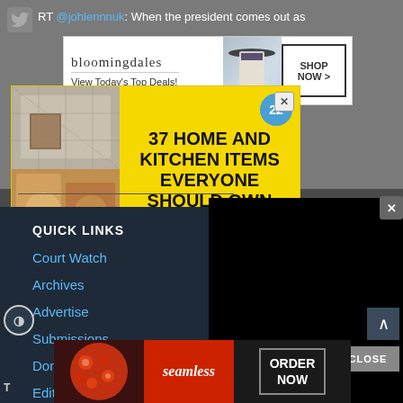RT @johlennnuk: When the president comes out as
[Figure (screenshot): Bloomingdales advertisement banner: View Today's Top Deals! with SHOP NOW > button and woman in hat photo]
[Figure (screenshot): Yellow popup ad overlay showing food/kitchen items photos and text: 22 minutes, 37 HOME AND KITCHEN ITEMS EVERYONE SHOULD OWN]
Announcing the 20… Award Recipients! Diakonia https://t.co/psQQSWuhS…
QUICK LINKS
Court Watch
Archives
Advertise
Submissions
Donate
Edit…
[Figure (screenshot): Seamless food delivery advertisement: pizza photo, seamless logo, ORDER NOW button]
CLOSE